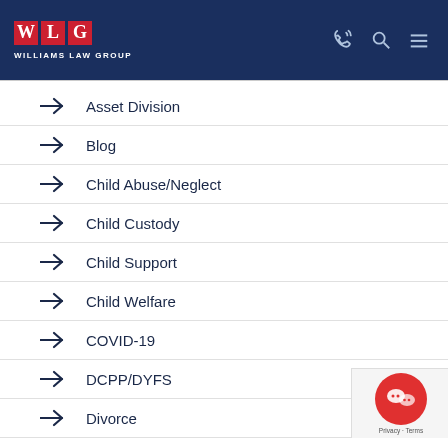[Figure (logo): Williams Law Group logo with WLG letters in red boxes on dark navy header background]
Asset Division
Blog
Child Abuse/Neglect
Child Custody
Child Support
Child Welfare
COVID-19
DCPP/DYFS
Divorce